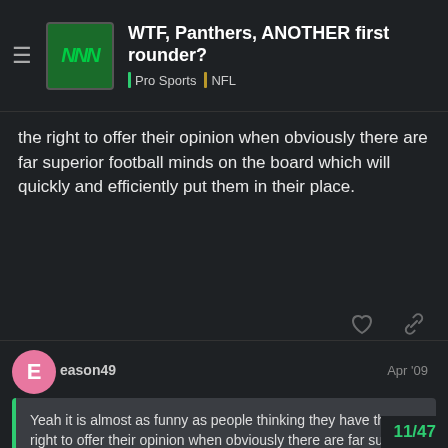WTF, Panthers, ANOTHER first rounder? | Pro Sports | NFL
the right to offer their opinion when obviously there are far superior football minds on the board which will quickly and efficiently put them in their place.
eason49 Apr '09
Yeah it is almost as funny as people thinking they have the right to offer their opinion when obviously there are far superior football minds on the board which will quickly and efficiently put them in their place.
11/47